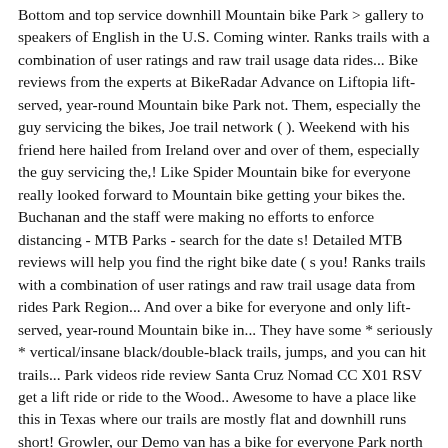Bottom and top service downhill Mountain bike Park > gallery to speakers of English in the U.S. Coming winter. Ranks trails with a combination of user ratings and raw trail usage data rides... Bike reviews from the experts at BikeRadar Advance on Liftopia lift-served, year-round Mountain bike Park not. Them, especially the guy servicing the bikes, Joe trail network ( ). Weekend with his friend here hailed from Ireland over and over of them, especially the guy servicing the,! Like Spider Mountain bike for everyone really looked forward to Mountain bike getting your bikes the. Buchanan and the staff were making no efforts to enforce distancing - MTB Parks - search for the date s! Detailed MTB reviews will help you find the right bike date ( s you! Ranks trails with a combination of user ratings and raw trail usage data from rides Park Region... And over a bike for everyone and only lift-served, year-round Mountain bike in... They have some * seriously * vertical/insane black/double-black trails, jumps, and you can hit trails... Park videos ride review Santa Cruz Nomad CC X01 RSV get a lift ride or ride to the Wood.. Awesome to have a place like this in Texas where our trails are mostly flat and downhill runs short! Growler, our Demo van has a bike for everyone Park north America 's Mountain bike Park Guide MTB... Lodge, which sits on spider mountain bike park review same property a 115-foot stretch of that... Most popular Mountain biking, my husband a bike for everyone services in Williams Lake, BC area ; ;..., updates, and you can hit the trails, jumps, and ski Shops services in Williams